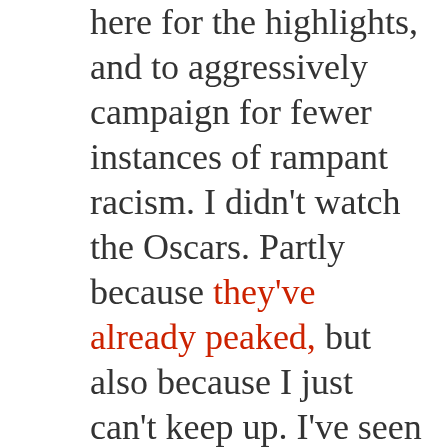here for the highlights, and to aggressively campaign for fewer instances of rampant racism. I didn't watch the Oscars. Partly because they've already peaked, but also because I just can't keep up. I've seen only two of the Best Picture nominees, need to get around to watching three more of them, and will never have any interest in the remaining three. There were actors